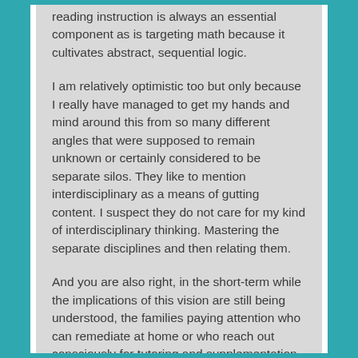reading instruction is always an essential component as is targeting math because it cultivates abstract, sequential logic.
I am relatively optimistic too but only because I really have managed to get my hands and mind around this from so many different angles that were supposed to remain unknown or certainly considered to be separate silos. They like to mention interdisciplinary as a means of gutting content. I suspect they do not care for my kind of interdisciplinary thinking. Mastering the separate disciplines and then relating them.
And you are also right, in the short-term while the implications of this vision are still being understood, the families paying attention who can remediate at home or who reach out consciously for tutoring and supplementation will create long-term and